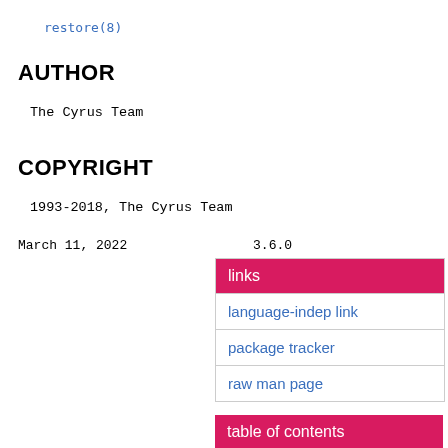restore(8)
AUTHOR
The Cyrus Team
COPYRIGHT
1993-2018, The Cyrus Team
March 11, 2022                    3.6.0
| links |
| --- |
| language-indep link |
| package tracker |
| raw man page |
| table of contents |
| --- |